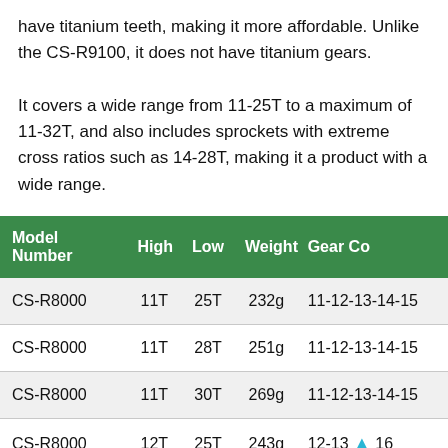have titanium teeth, making it more affordable. Unlike the CS-R9100, it does not have titanium gears.
It covers a wide range from 11-25T to a maximum of 11-32T, and also includes sprockets with extreme cross ratios such as 14-28T, making it a product with a wide range.
| Model Number | High | Low | Weight | Gear Co |
| --- | --- | --- | --- | --- |
| CS-R8000 | 11T | 25T | 232g | 11-12-13-14-15 |
| CS-R8000 | 11T | 28T | 251g | 11-12-13-14-15 |
| CS-R8000 | 11T | 30T | 269g | 11-12-13-14-15 |
| CS-R8000 | 12T | 25T | 243g | 12-13 [arrow] 16 |